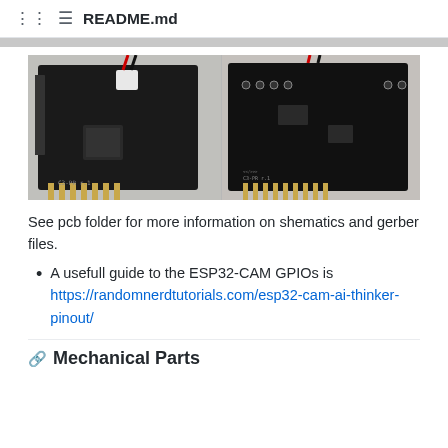README.md
[Figure (photo): Two photos of a PCB board labeled C3-PR r.1. Left photo shows front side with header pins and connector. Right photo shows back side with components and SMD parts, both showing gold-colored header pins at bottom.]
See pcb folder for more information on shematics and gerber files.
A usefull guide to the ESP32-CAM GPIOs is https://randomnerdtutorials.com/esp32-cam-ai-thinker-pinout/
Mechanical Parts